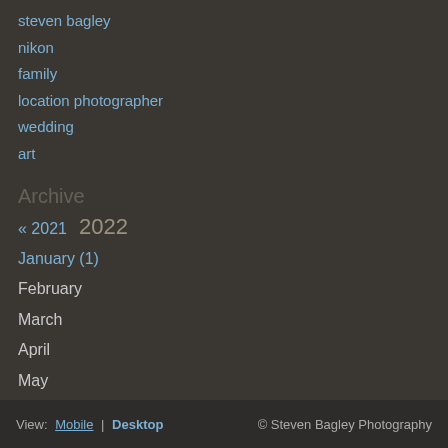steven bagley
nikon
family
location photographer
wedding
art
Archive
« 2021  2022
January (1)
February
March
April
May
June
July
August
View: Mobile | Desktop  © Steven Bagley Photography